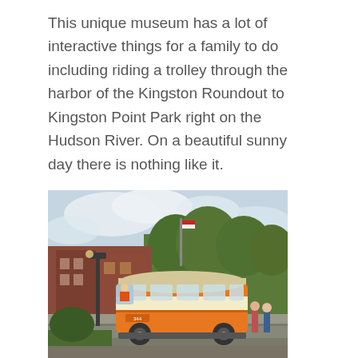This unique museum has a lot of interactive things for a family to do including riding a trolley through the harbor of the Kingston Roundout to Kingston Point Park right on the Hudson River. On a beautiful sunny day there is nothing like it.
[Figure (photo): A vintage orange and cream trolley car traveling through a downtown street area with trees, storefronts, and people visible in the background.]
The first part of the trip took us to the Kingston Roundout
I just made the first trip on the trolley. You start at the front of the museum and then you take a short trip to the downtown and we picked up other passengers. It was then